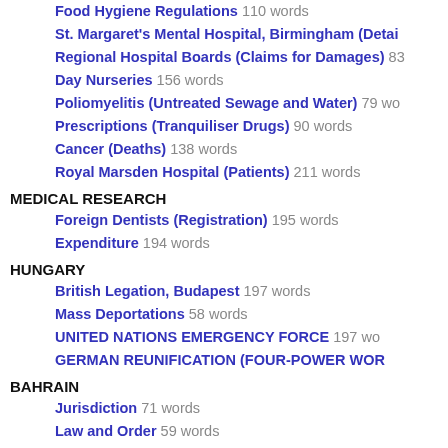Food Hygiene Regulations 110 words
St. Margaret's Mental Hospital, Birmingham (Detain…
Regional Hospital Boards (Claims for Damages) 83…
Day Nurseries 156 words
Poliomyelitis (Untreated Sewage and Water) 79 wo…
Prescriptions (Tranquiliser Drugs) 90 words
Cancer (Deaths) 138 words
Royal Marsden Hospital (Patients) 211 words
MEDICAL RESEARCH
Foreign Dentists (Registration) 195 words
Expenditure 194 words
HUNGARY
British Legation, Budapest 197 words
Mass Deportations 58 words
UNITED NATIONS EMERGENCY FORCE 197 wo…
GERMAN REUNIFICATION (FOUR-POWER WOR…
BAHRAIN
Jurisdiction 71 words
Law and Order 59 words
SINAI PENINSULA AND GAZA STRIP 273 words